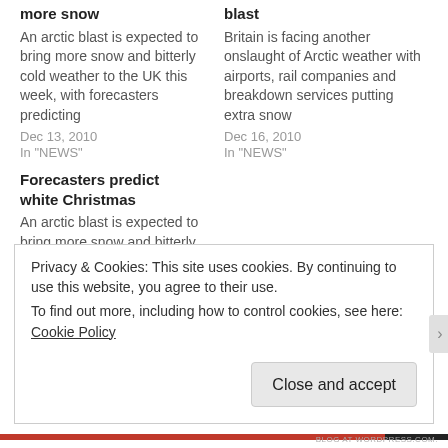more snow
An arctic blast is expected to bring more snow and bitterly cold weather to the UK this week, with forecasters predicting
Dec 13, 2010
In "NEWS"
blast
Britain is facing another onslaught of Arctic weather with airports, rail companies and breakdown services putting extra snow
Dec 16, 2010
In "NEWS"
Forecasters predict white Christmas
An arctic blast is expected to bring more snow and bitterly cold weather to the UK this week, with
Privacy & Cookies: This site uses cookies. By continuing to use this website, you agree to their use.
To find out more, including how to control cookies, see here: Cookie Policy
Close and accept